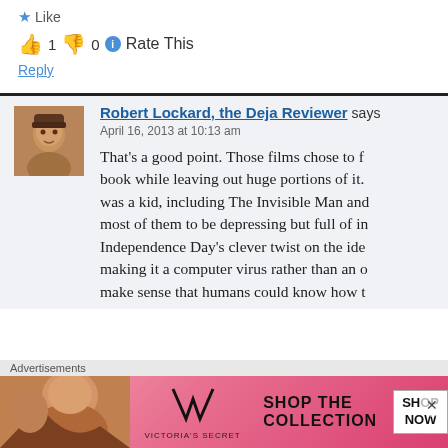Like
👍 1 👎 0 ℹ Rate This
Reply
Robert Lockard, the Deja Reviewer says
April 16, 2013 at 10:13 am
That's a good point. Those films chose to f... book while leaving out huge portions of it. was a kid, including The Invisible Man and most of them to be depressing but full of in Independence Day's clever twist on the ide making it a computer virus rather than an o make sense that humans could know how t
Advertisements
[Figure (screenshot): Victoria's Secret advertisement banner with model, VS logo, 'SHOP THE COLLECTION' text and 'SHOP NOW' button]